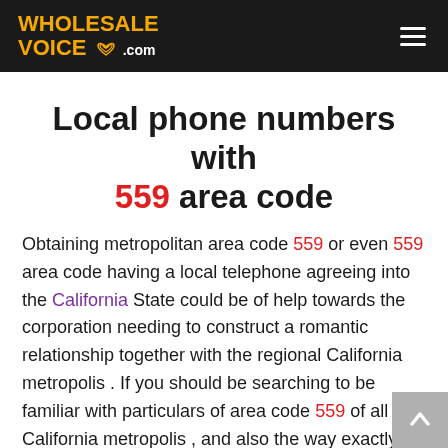WHOLESALE VOICE .com
Local phone numbers with 559 area code
Obtaining metropolitan area code 559 or even 559 area code having a local telephone agreeing into the California State could be of help towards the corporation needing to construct a romantic relationship together with the regional California metropolis . If you should be searching to be familiar with particulars of area code 559 of all California metropolis , and also the way exactly to choose a local telephone right here.
To get far better small business in larger California